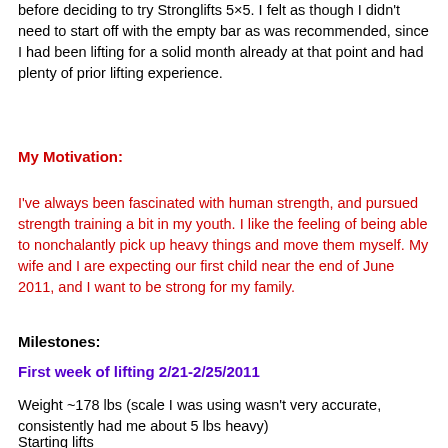before deciding to try Stronglifts 5×5. I felt as though I didn't need to start off with the empty bar as was recommended, since I had been lifting for a solid month already at that point and had plenty of prior lifting experience.
My Motivation:
I've always been fascinated with human strength, and pursued strength training a bit in my youth. I like the feeling of being able to nonchalantly pick up heavy things and move them myself. My wife and I are expecting our first child near the end of June 2011, and I want to be strong for my family.
Milestones:
First week of lifting 2/21-2/25/2011
Weight ~178 lbs (scale I was using wasn't very accurate, consistently had me about 5 lbs heavy)
Starting lifts